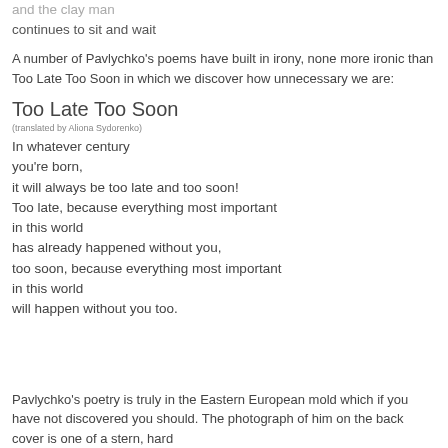and the clay man
continues to sit and wait
A number of Pavlychko's poems have built in irony, none more ironic than Too Late Too Soon in which we discover how unnecessary we are:
Too Late Too Soon
(translated by Aliona Sydorenko)
In whatever century
you're born,
it will always be too late and too soon!
Too late, because everything most important
in this world
has already happened without you,
too soon, because everything most important
in this world
will happen without you too.
Pavlychko's poetry is truly in the Eastern European mold which if you have not discovered you should. The photograph of him on the back cover is one of a stern, hard